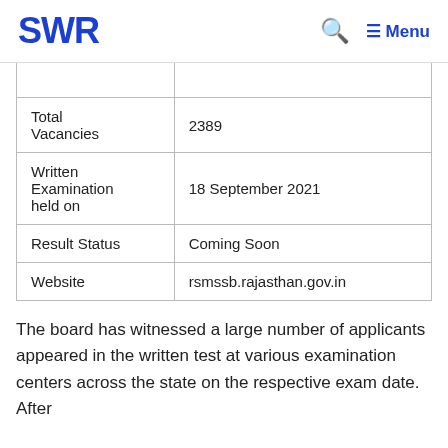SWR | Menu
| Total Vacancies | 2389 |
| Written Examination held on | 18 September 2021 |
| Result Status | Coming Soon |
| Website | rsmssb.rajasthan.gov.in |
The board has witnessed a large number of applicants appeared in the written test at various examination centers across the state on the respective exam date. After